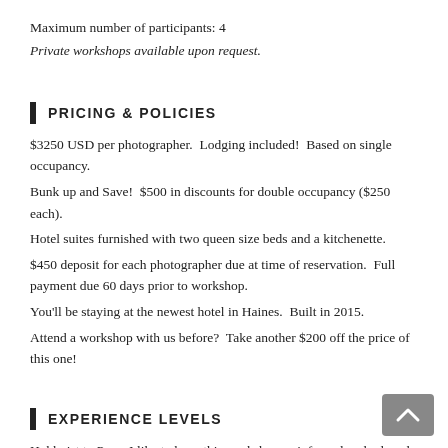Maximum number of participants: 4
Private workshops available upon request.
PRICING & POLICIES
$3250 USD per photographer.  Lodging included!  Based on single occupancy.
Bunk up and Save!  $500 in discounts for double occupancy ($250 each).
Hotel suites furnished with two queen size beds and a kitchenette.
$450 deposit for each photographer due at time of reservation.  Full payment due 60 days prior to workshop.
You'll be staying at the newest hotel in Haines.  Built in 2015.
Attend a workshop with us before?  Take another $200 off the price of this one!
EXPERIENCE LEVELS
Hobbyist to Pro – I like to keep this workshop as informal and relaxed as